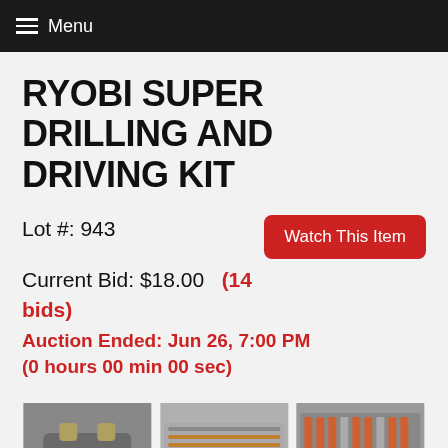Menu
RYOBI SUPER DRILLING AND DRIVING KIT
Lot #: 943
Watch This Item
Current Bid: $18.00 (14 bids)
Auction Ended: Jun 26, 7:00 PM (0 hours 00 min 00 sec)
[Figure (photo): Three product photos of the Ryobi Super Drilling and Driving Kit showing kit case and drill bits]